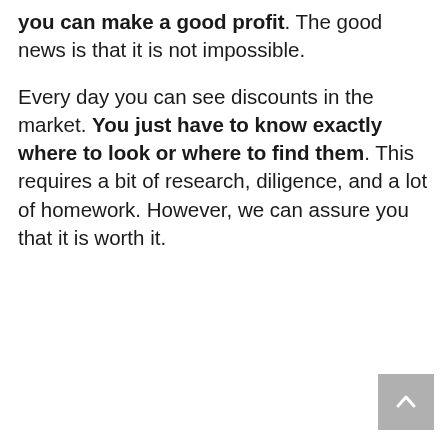you can make a good profit. The good news is that it is not impossible.

Every day you can see discounts in the market. You just have to know exactly where to look or where to find them. This requires a bit of research, diligence, and a lot of homework. However, we can assure you that it is worth it.